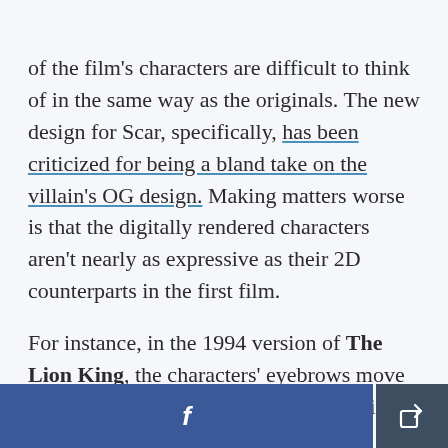of the film's characters are difficult to think of in the same way as the originals. The new design for Scar, specifically, has been criticized for being a bland take on the villain's OG design. Making matters worse is that the digitally rendered characters aren't nearly as expressive as their 2D counterparts in the first film.
For instance, in the 1994 version of The Lion King, the characters' eyebrows move as they talk; their mouths twist into smiles and smirks and
[Figure (other): Footer bar with Facebook share button (blue, with 'f' icon) and a general share button (dark blue-grey, with share/export icon)]